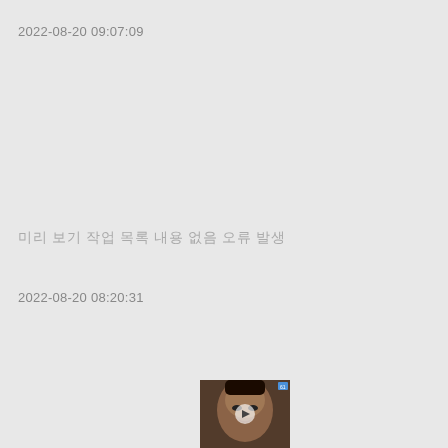2022-08-20 09:07:09
미리 보기 작업 목록 내용 없음 오류 발생
2022-08-20 08:20:31
[Figure (photo): Thumbnail of a person's face, partially visible, with a play button overlay and a small blue badge in the top right corner]